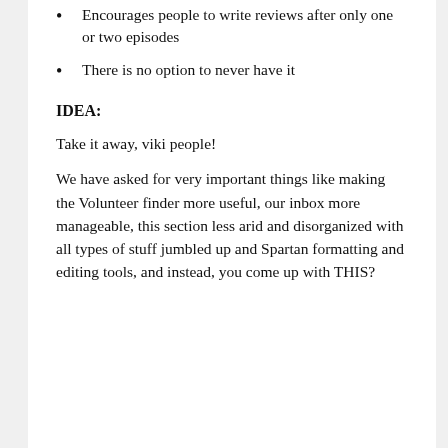Encourages people to write reviews after only one or two episodes
There is no option to never have it
IDEA:
Take it away, viki people!
We have asked for very important things like making the Volunteer finder more useful, our inbox more manageable, this section less arid and disorganized with all types of stuff jumbled up and Spartan formatting and editing tools, and instead, you come up with THIS?